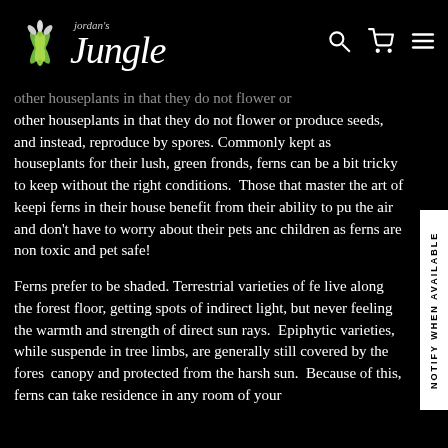Jordan's Jungle
other houseplants in that they do not flower or produce seeds, and instead, reproduce by spores. Commonly kept as houseplants for their lush, green fronds, ferns can be a bit tricky to keep without the right conditions. Those that master the art of keeping ferns in their house benefit from their ability to purify the air and don't have to worry about their pets and children as ferns are non toxic and pet safe!
Ferns prefer to be shaded. Terrestrial varieties of ferns live along the forest floor, getting spots of indirect light, but never feeling the warmth and strength of direct sun rays. Epiphytic varieties, while suspended in tree limbs, are generally still covered by the forest canopy and protected from the harsh sun. Because of this, ferns can take residence in any room of your